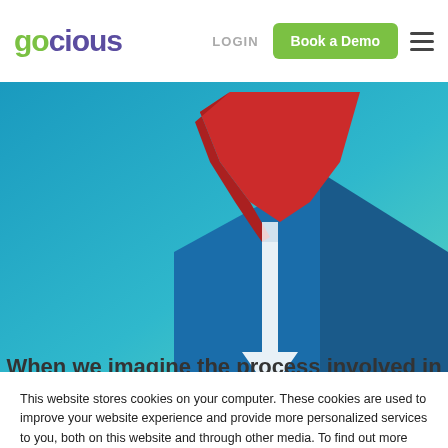gocious LOGIN Book a Demo
[Figure (illustration): Abstract 3D isometric illustration showing a red funnel/arrow going down into a white downward arrow on a blue/teal gradient background]
When we imagine the process involved in
This website stores cookies on your computer. These cookies are used to improve your website experience and provide more personalized services to you, both on this website and through other media. To find out more about the cookies we use, see our Privacy Policy.
We won't track your information when you visit our site. But in order to comply with your preferences, we'll have to use just one tiny cookie so that you're not asked to make this choice again.
Accept  Decline